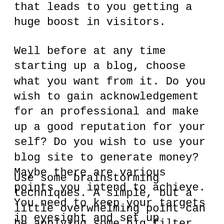that leads to you getting a huge boost in visitors.
Well before at any time starting up a blog, choose what you want from it. Do you wish to gain acknowledgement for an professional and make up a good reputation for your self? Do you wish to use your blog site to generate money? Maybe there are various points you intend to achieve. You need to keep your targets in eyesight and set up increase your blog site properly.
Use some brainstorming techniques. A simple, but a little overwhelming point can be applying some big filter systems